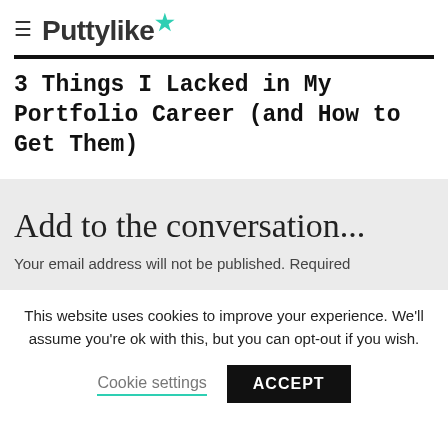≡ Puttylike★
3 Things I Lacked in My Portfolio Career (and How to Get Them)
Add to the conversation...
Your email address will not be published. Required
This website uses cookies to improve your experience. We'll assume you're ok with this, but you can opt-out if you wish.
Cookie settings   ACCEPT